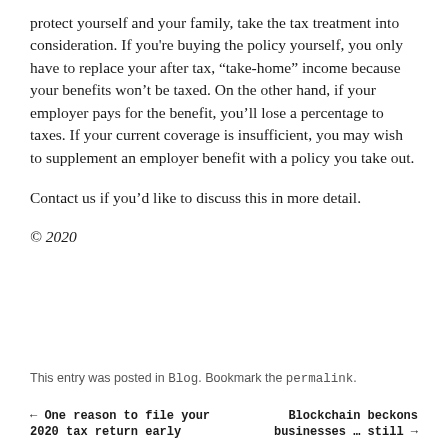protect yourself and your family, take the tax treatment into consideration. If you're buying the policy yourself, you only have to replace your after tax, "take-home" income because your benefits won't be taxed. On the other hand, if your employer pays for the benefit, you'll lose a percentage to taxes. If your current coverage is insufficient, you may wish to supplement an employer benefit with a policy you take out.
Contact us if you'd like to discuss this in more detail.
© 2020
This entry was posted in Blog. Bookmark the permalink.
← One reason to file your 2020 tax return early    Blockchain beckons businesses … still →